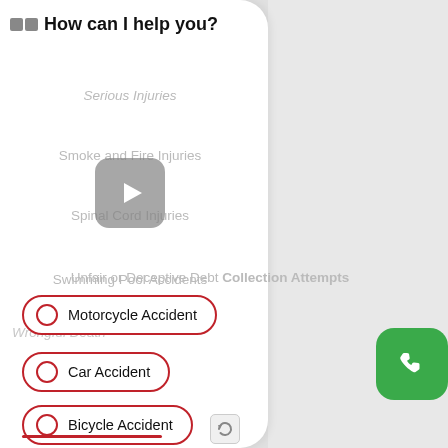🟫🟫 How can I help you?
Serious Injuries
Smoke and Fire Injuries
Spinal Cord Injuries
[Figure (other): Video play button overlay (grey rounded square with white triangle)]
Swimming Pool Accidents
Unfair or Deceptive Debt Collection Attempts
Motorcycle Accident
Wrongful Death
Car Accident
Bicycle Accident
[Figure (other): Green phone call button (rounded square with telephone handset icon)]
[Figure (other): Reload/refresh icon at bottom center]